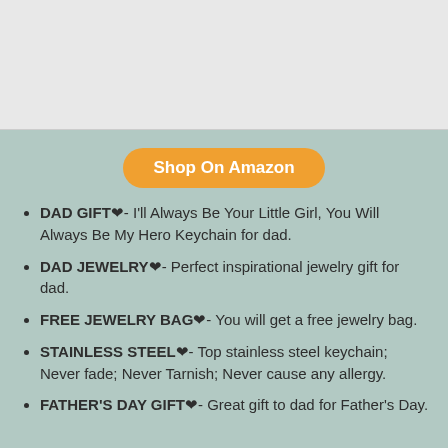[Figure (photo): Product image placeholder (white/light gray box)]
Shop On Amazon
DAD GIFT❦- I'll Always Be Your Little Girl, You Will Always Be My Hero Keychain for dad.
DAD JEWELRY❦- Perfect inspirational jewelry gift for dad.
FREE JEWELRY BAG❦- You will get a free jewelry bag.
STAINLESS STEEL❦- Top stainless steel keychain; Never fade; Never Tarnish; Never cause any allergy.
FATHER'S DAY GIFT❦- Great gift to dad for Father's Day.